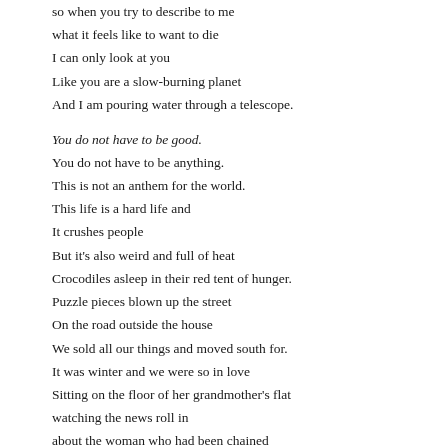so when you try to describe to me
what it feels like to want to die
I can only look at you
Like you are a slow-burning planet
And I am pouring water through a telescope.

You do not have to be good.
You do not have to be anything.
This is not an anthem for the world.
This life is a hard life and
It crushes people
But it's also weird and full of heat
Crocodiles asleep in their red tent of hunger.
Puzzle pieces blown up the street
On the road outside the house
We sold all our things and moved south for.
It was winter and we were so in love
Sitting on the floor of her grandmother's flat
watching the news roll in
about the woman who had been chained
for seven years in someone's basement
And just got free.